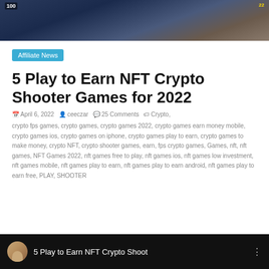[Figure (screenshot): Top portion of a mobile gaming screenshot showing HUD elements with '100' health indicator and '22' counter on a dark action game background]
Affiliate News
5 Play to Earn NFT Crypto Shooter Games for 2022
April 6, 2022   ceeczar   25 Comments   Crypto, crypto fps games, crypto games, crypto games 2022, crypto games earn money mobile, crypto games ios, crypto games on iphone, crypto games play to earn, crypto games to make money, crypto NFT, crypto shooter games, earn, fps crypto games, Games, nft, nft games, NFT Games 2022, nft games free to play, nft games ios, nft games low investment, nft games mobile, nft games play to earn, nft games play to earn android, nft games play to earn free, PLAY, SHOOTER
[Figure (screenshot): Bottom portion showing a video thumbnail with a person's avatar and the text '5 Play to Earn NFT Crypto Shoot' on dark background]